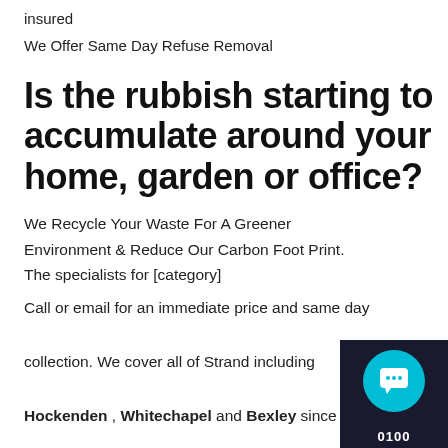insured
We Offer Same Day Refuse Removal
Is the rubbish starting to accumulate around your home, garden or office?
We Recycle Your Waste For A Greener Environment & Reduce Our Carbon Foot Print. The specialists for [category]
Call or email for an immediate price and same day collection. We cover all of Strand including Hockenden , Whitechapel and Bexley since
[Figure (other): Dark chat widget overlay in bottom-right corner with teal circular chat icon and partial phone number at bottom]